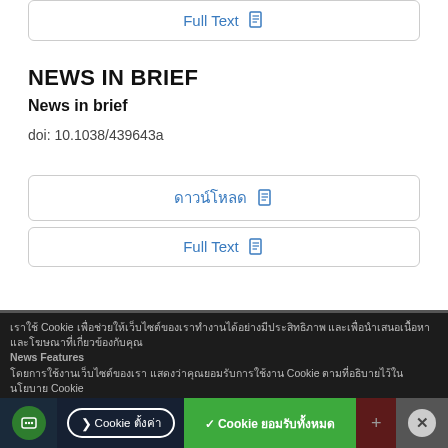Full Text 🗎
NEWS IN BRIEF
News in brief
doi: 10.1038/439643a
ดาวน์โหลด 🗎
Full Text 🗎
Cookie banner with Thai text and accept/decline buttons